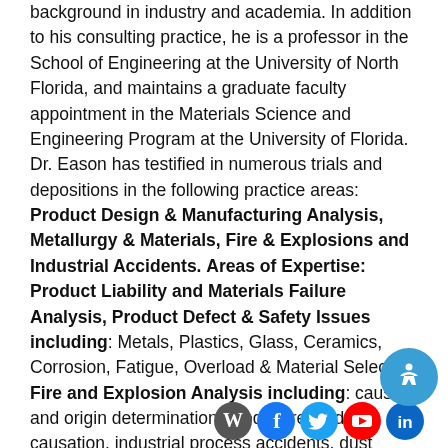background in industry and academia. In addition to his consulting practice, he is a professor in the School of Engineering at the University of North Florida, and maintains a graduate faculty appointment in the Materials Science and Engineering Program at the University of Florida. Dr. Eason has testified in numerous trials and depositions in the following practice areas: Product Design & Manufacturing Analysis, Metallurgy & Materials, Fire & Explosions and Industrial Accidents. Areas of Expertise: Product Liability and Materials Failure Analysis, Product Defect & Safety Issues including: Metals, Plastics, Glass, Ceramics, Corrosion, Fatigue, Overload & Material Selection Fire and Explosion Analysis including: cause and origin determination, product related fire causation, industrial process accidents, dust explosions, welding/brazing accidents
[Figure (other): Social media icons (WordPress, Facebook, Twitter, YouTube, LinkedIn) and an accessibility button]